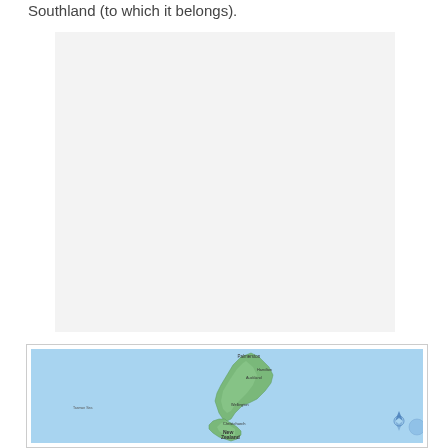Southland (to which it belongs).
[Figure (other): Blank/white placeholder image area with light gray background]
[Figure (map): Map of New Zealand showing North Island and South Island with green landmass on blue ocean background. Labels include New Zealand, Palmerston, Christchurch, and other city names. A blue directional arrow/compass indicator visible at bottom right.]